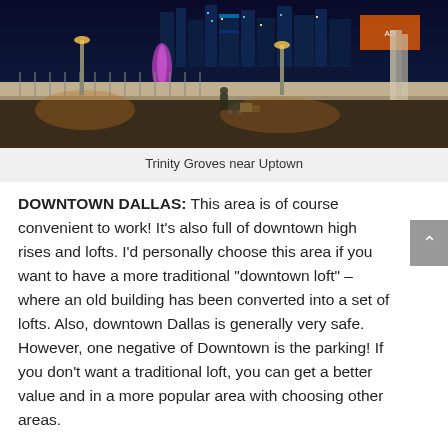[Figure (photo): Nighttime cityscape photo of Trinity Groves near Uptown Dallas, showing a bridge, street lights, and illuminated downtown skyscrapers in the background]
Trinity Groves near Uptown
DOWNTOWN DALLAS:  This area is of course convenient to work!  It’s also full of downtown high rises and lofts. I’d personally choose this area if you want to have a more traditional “downtown loft” – where an old building has been converted into a set of lofts.  Also, downtown Dallas is generally very safe.   However, one negative of Downtown is the parking! If you don’t want a traditional loft, you can get a better value and in a more popular area with choosing other areas.